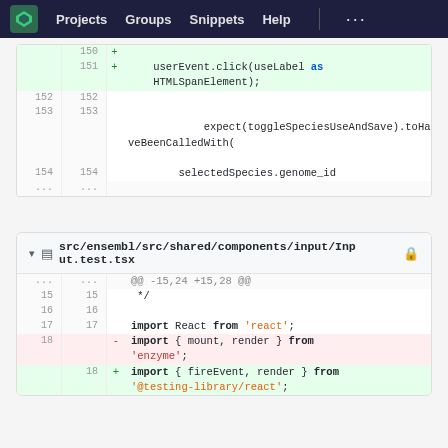Projects  Groups  Snippets  Help  ...
[Figure (screenshot): Code diff panel showing lines 150-154 with added lines for userEvent.click(useLabel as HTMLSpanElement); and context lines with expect(toggleSpeciesUseAndSave).toHaveBeenCalledWith( selectedSpecies.genome_id]
[Figure (screenshot): Code diff panel for src/ensembl/src/shared/components/input/Input.test.tsx showing hunk @@ -15,24 +15,28 @@, lines 15-18 with import React from 'react'; removed import { mount, render } from 'enzyme'; added import { fireEvent, render } from '@testing-library/react';]